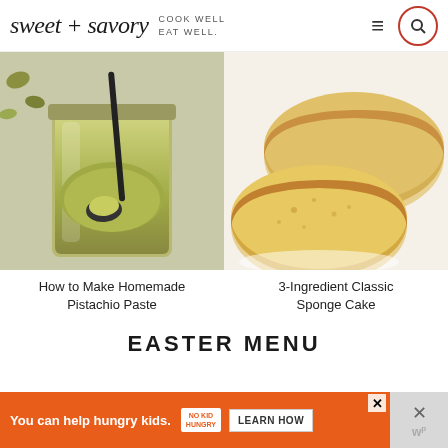sweet + savory | COOK WELL EAT WELL
[Figure (photo): Jar of green pistachio paste with a black spoon, pistachios scattered in background]
[Figure (photo): Two round golden sponge cake layers on a white surface]
How to Make Homemade Pistachio Paste
3-Ingredient Classic Sponge Cake
EASTER MENU
[Figure (screenshot): Orange advertisement banner: You can help hungry kids. No Kid Hungry. LEARN HOW]